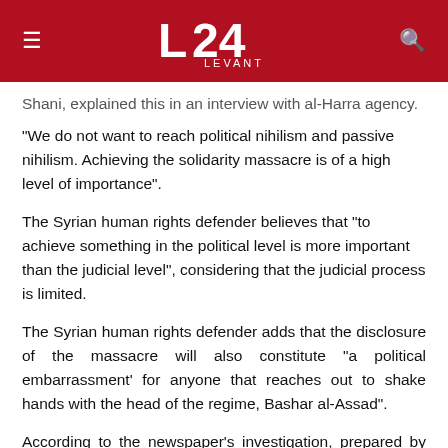L24 LEVANT
Shani, explained this in an interview with al-Harra agency.
“We do not want to reach political nihilism and passive nihilism. Achieving the solidarity massacre is of a high level of importance”.
The Syrian human rights defender believes that “to achieve something in the political level is more important than the judicial level”, considering that the judicial process is limited.
The Syrian human rights defender adds that the disclosure of the massacre will also constitute “a political embarrassment’ for anyone that reaches out to shake hands with the head of the regime, Bashar al-Assad”.
According to the newspaper’s investigation, prepared by researchers Ansar Shahoud and Ugur Umit Ungor, who work